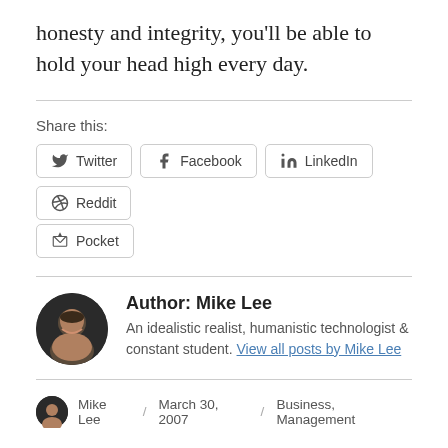honesty and integrity, you'll be able to hold your head high every day.
Share this:
[Figure (other): Social share buttons: Twitter, Facebook, LinkedIn, Reddit, Pocket]
Author: Mike Lee
An idealistic realist, humanistic technologist & constant student. View all posts by Mike Lee
Mike Lee / March 30, 2007 / Business, Management